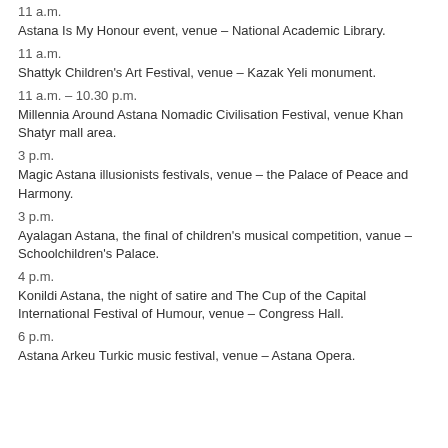11 a.m.
Astana Is My Honour event, venue – National Academic Library.
11 a.m.
Shattyk Children's Art Festival, venue – Kazak Yeli monument.
11 a.m. – 10.30 p.m.
Millennia Around Astana Nomadic Civilisation Festival, venue Khan Shatyr mall area.
3 p.m.
Magic Astana illusionists festivals, venue – the Palace of Peace and Harmony.
3 p.m.
Ayalagan Astana, the final of children's musical competition, vanue – Schoolchildren's Palace.
4 p.m.
Konildi Astana, the night of satire and The Cup of the Capital International Festival of Humour, venue – Congress Hall.
6 p.m.
Astana Arkeu Turkic music festival, venue – Astana Opera.